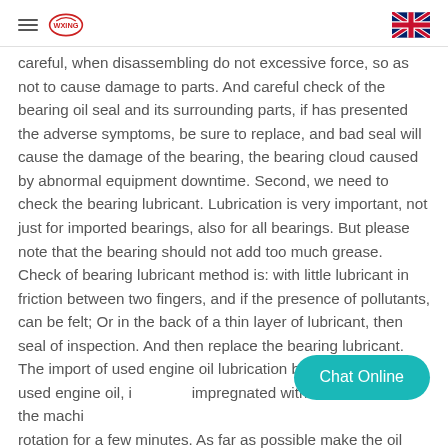WXING [logo] [UK flag]
careful, when disassembling do not excessive force, so as not to cause damage to parts. And careful check of the bearing oil seal and its surrounding parts, if has presented the adverse symptoms, be sure to replace, and bad seal will cause the damage of the bearing, the bearing cloud caused by abnormal equipment downtime. Second, we need to check the bearing lubricant. Lubrication is very important, not just for imported bearings, also for all bearings. But please note that the bearing should not add too much grease. Check of bearing lubricant method is: with little lubricant in friction between two fingers, and if the presence of pollutants, can be felt; Or in the back of a thin layer of lubricant, then seal of inspection. And then replace the bearing lubricant. The import of used engine oil lubrication bearing after xie used engine oil, if impregnated with fresh oil and let the machi rotation for a few minutes. As far as possible make the oil